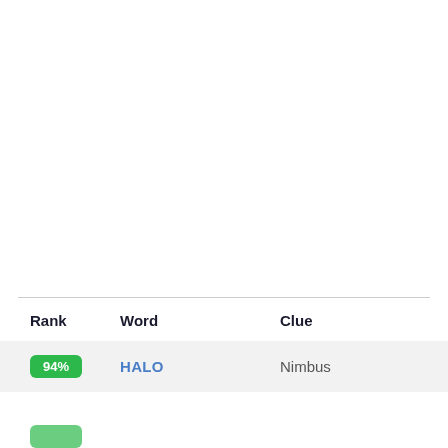| Rank | Word | Clue |
| --- | --- | --- |
| 94% | HALO | Nimbus |
| ... | ... | ... |